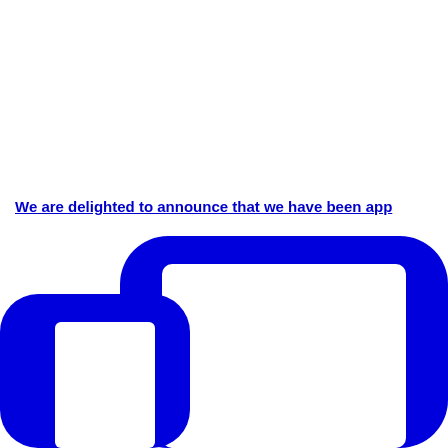We are delighted to announce that we have been app
[Figure (illustration): Blue icon/graphic of two overlapping rounded-rectangle tablet/device outlines in solid blue, partially cropped at the bottom of the page.]